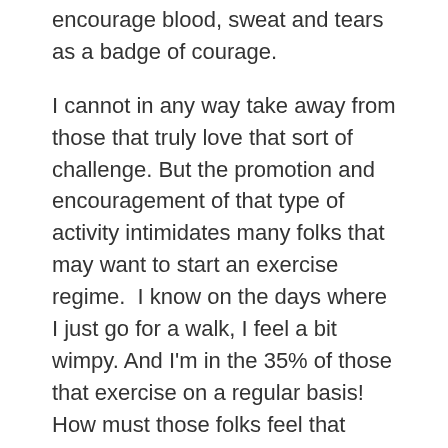encourage blood, sweat and tears as a badge of courage.
I cannot in any way take away from those that truly love that sort of challenge. But the promotion and encouragement of that type of activity intimidates many folks that may want to start an exercise regime.  I know on the days where I just go for a walk, I feel a bit wimpy. And I'm in the 35% of those that exercise on a regular basis!  How must those folks feel that don't exercise?
The bottom line is this. Exercise has morphed in to this world of fast and furious for it to matter, but that's not so. Sure, if I do 100 squats and 100 pushups and carry a tire over my shoulder for 50 feet, not only am I a stud, I'm probably in pretty good shape. But the truth is I don't want to do that, but that shouldn't make me feel like anything less is